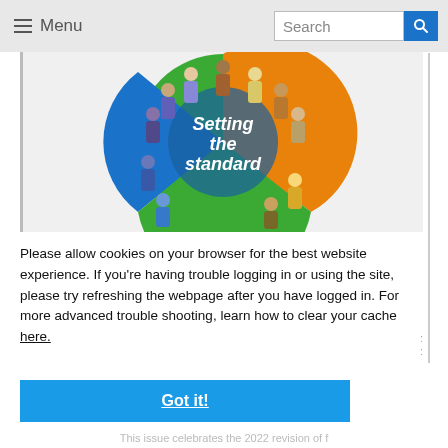≡ Menu   Search
[Figure (photo): Circular image showing diverse group of people standing in a pie-chart-like arrangement with blue, orange and green sections, with white text reading 'Setting the standard' in the center.]
Please allow cookies on your browser for the best website experience. If you're having trouble logging in or using the site, please try refreshing the webpage after you have logged in. For more advanced trouble shooting, learn how to clear your cache here.
Got it!
This issue celebrates the 2022 revision of... Standards for Professional...